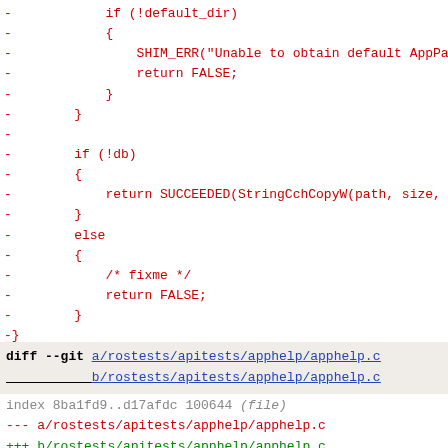Code diff showing removed lines (if (!default_dir), SHIM_ERR, return FALSE, if (!db), return SUCCEEDED, else, fixme, return FALSE, closing braces) followed by comment block and new diff header for rostests/apitests/apphelp/apphelp.c with hunk @@ -36,26 +36,7 @@ and #include wine/test.h
diff --git a/rostests/apitests/apphelp/apphelp.c b/rostests/apitests/apphelp/apphelp.c
index 8ba1fd9..d17afdc 100644 (file)
--- a/rostests/apitests/apphelp/apphelp.c
+++ b/rostests/apitests/apphelp/apphelp.c
@@ -36,26 +36,7 @@
 #include "wine/test.h"